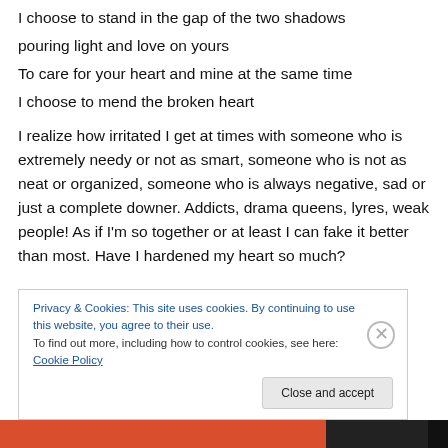I choose to stand in the gap of the two shadows
pouring light and love on yours
To care for your heart and mine at the same time
I choose to mend the broken heart
I realize how irritated I get at times with someone who is extremely needy or not as smart, someone who is not as neat or organized, someone who is always negative, sad or just a complete downer. Addicts, drama queens, lyres, weak people! As if I'm so together or at least I can fake it better than most. Have I hardened my heart so much?
Privacy & Cookies: This site uses cookies. By continuing to use this website, you agree to their use.
To find out more, including how to control cookies, see here: Cookie Policy
Close and accept